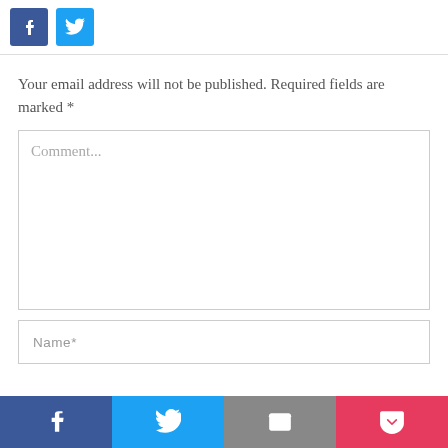[Figure (other): Facebook and Twitter share buttons at top of page]
Your email address will not be published. Required fields are marked *
[Figure (other): Comment text area input box with placeholder text 'Comment...']
[Figure (other): Name input field with placeholder text 'Name*']
[Figure (other): Bottom social share bar with Facebook, Twitter, Email, and Pocket buttons]